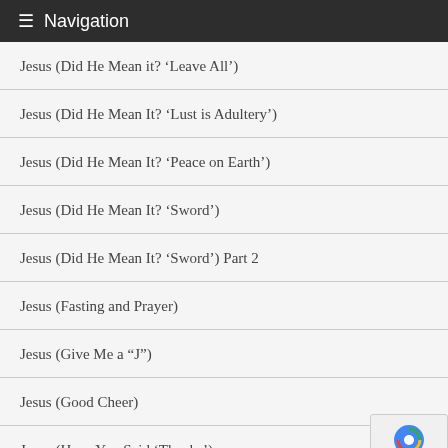≡ Navigation
Jesus (Did He Mean it? 'Leave All')
Jesus (Did He Mean It? 'Lust is Adultery')
Jesus (Did He Mean It? 'Peace on Earth')
Jesus (Did He Mean It? 'Sword')
Jesus (Did He Mean It? 'Sword') Part 2
Jesus (Fasting and Prayer)
Jesus (Give Me a “J”)
Jesus (Good Cheer)
Jesus (Have You Said ‘Thanks’)